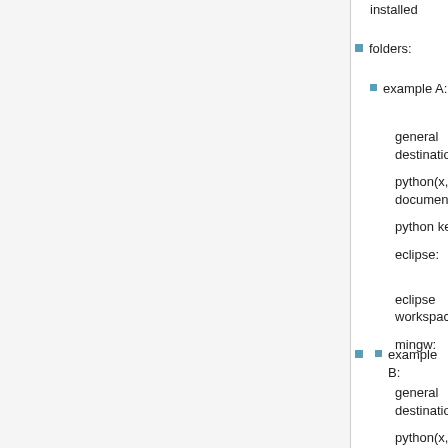installed
folders:
example A:
general destination: C:\Pro (x86)\
python(x,y) documentation: C:\Pro (x86)\
python kernel: C:\Py
eclipse: C:\Pro (x86)\
eclipse workspace: C:\Do
mingw: C:\Pro (x86)\
example B:
general destination: D:\pyt
python(x,y) documentation: D:\pyt
python kernel: D:\Py